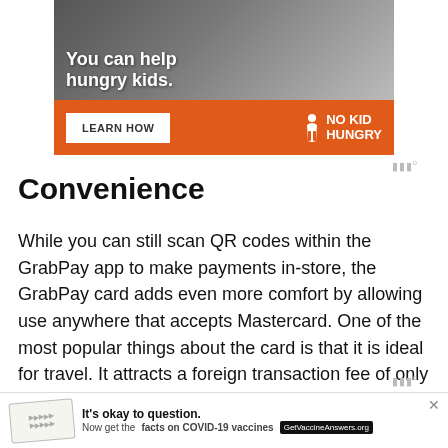[Figure (infographic): No Kid Hungry advertisement banner showing a child eating, with text 'You can help hungry kids.' and a 'LEARN HOW' button on an orange background with No Kid Hungry logo.]
Convenience
While you can still scan QR codes within the GrabPay app to make payments in-store, the GrabPay card adds even more comfort by allowing use anywhere that accepts Mastercard. One of the most popular things about the card is that it is ideal for travel. It attracts a foreign transaction fee of only 2%, which is much lower than competitors. At least, most banks... the rate is
[Figure (infographic): COVID-19 vaccine advertisement banner: 'It's okay to question. Now get the facts on COVID-19 vaccines GetVaccineAnswers.org' with close button X.]